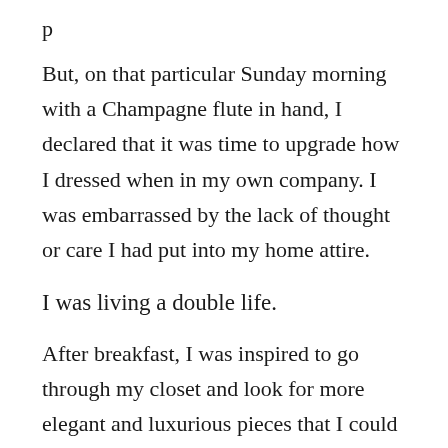But, on that particular Sunday morning with a Champagne flute in hand, I declared that it was time to upgrade how I dressed when in my own company. I was embarrassed by the lack of thought or care I had put into my home attire.
I was living a double life.
After breakfast, I was inspired to go through my closet and look for more elegant and luxurious pieces that I could wear around the house on those days when I choose to putz , lie on the